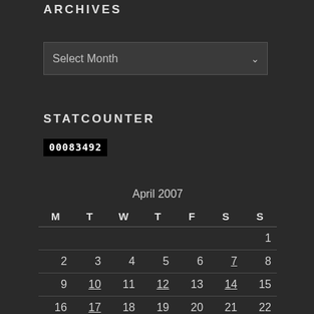ARCHIVES
[Figure (screenshot): Select Month dropdown control with dark background]
STATCOUNTER
00083492
| M | T | W | T | F | S | S |
| --- | --- | --- | --- | --- | --- | --- |
|  |  |  |  |  |  | 1 |
| 2 | 3 | 4 | 5 | 6 | 7 | 8 |
| 9 | 10 | 11 | 12 | 13 | 14 | 15 |
| 16 | 17 | 18 | 19 | 20 | 21 | 22 |